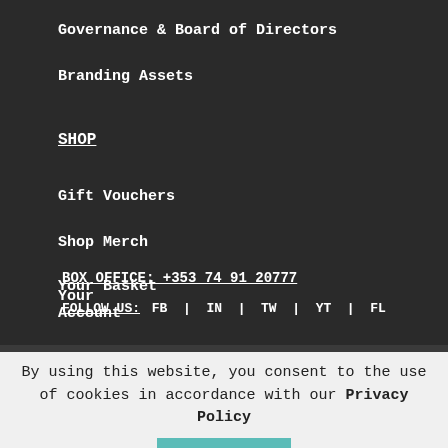Governance & Board of Directors
Branding Assets
SHOP
Gift Vouchers
Shop Merch
Your Basket
Your Account
BOX OFFICE: +353 74 91 20777
FOLLOW US: FB | IN | TW | YT | FL
FUNDERS & PARTNERS
By using this website, you consent to the use of cookies in accordance with our Privacy Policy
Accept